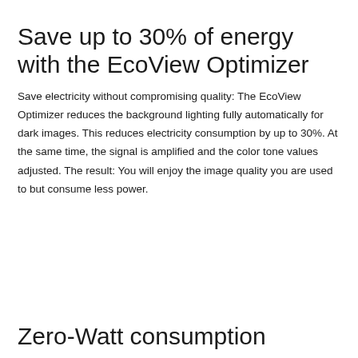Save up to 30% of energy with the EcoView Optimizer
Save electricity without compromising quality: The EcoView Optimizer reduces the background lighting fully automatically for dark images. This reduces electricity consumption by up to 30%. At the same time, the signal is amplified and the color tone values adjusted. The result: You will enjoy the image quality you are used to but consume less power.
Zero-Watt consumption